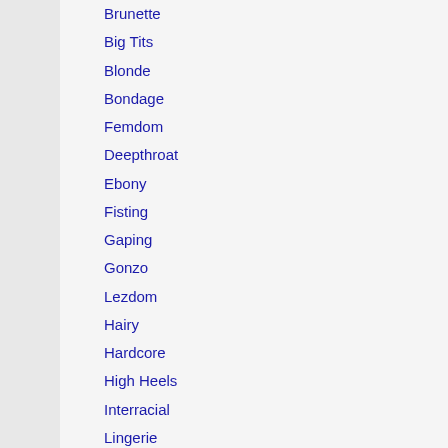Brunette
Big Tits
Blonde
Bondage
Femdom
Deepthroat
Ebony
Fisting
Gaping
Gonzo
Lezdom
Hairy
Hardcore
High Heels
Interracial
Lingerie
Latina
Milf
Masturbation
Spanking
Strapon
Oral
Fetish
Gang Bang
Actress: Iona Grace
Iona Grace claims that s... can please the members... questions for her, too, of... truth and shocked for the... does not really matter. In...
Tags: BDSM, bondage,
Year Video: 2020
Duration: 00:49:21
Quality: HD
Format: MPEG-4
Size: 556 MB
I Own Her Face Part Thr...